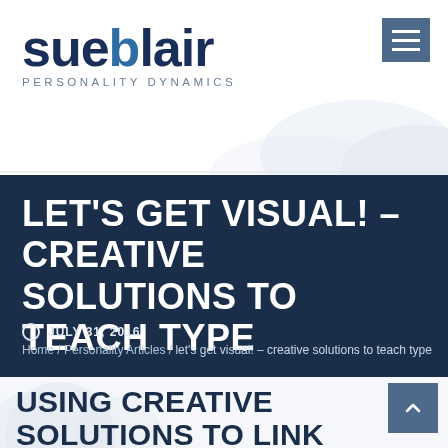[Figure (logo): Sue Blair Personality Dynamics logo with stylized text and subtitle]
LET'S GET VISUAL! – CREATIVE SOLUTIONS TO TEACH TYPE
JULY 31, 2016
Home / Personality Articles / let's get visual! – creative solutions to teach type
USING CREATIVE SOLUTIONS TO LINK PERSONALITY TYPE TO